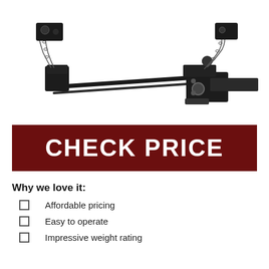[Figure (photo): Weight distribution hitch / tow bar assembly in black metal, showing spring bars, chains, and hitch head with ball mount, on white background.]
CHECK PRICE
Why we love it:
Affordable pricing
Easy to operate
Impressive weight rating